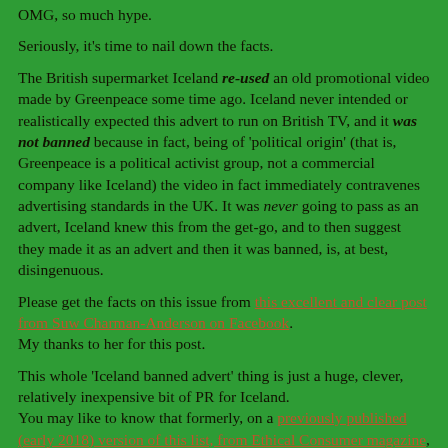OMG, so much hype.
Seriously, it's time to nail down the facts.
The British supermarket Iceland re-used an old promotional video made by Greenpeace some time ago. Iceland never intended or realistically expected this advert to run on British TV, and it was not banned because in fact, being of 'political origin' (that is, Greenpeace is a political activist group, not a commercial company like Iceland) the video in fact immediately contravenes advertising standards in the UK. It was never going to pass as an advert, Iceland knew this from the get-go, and to then suggest they made it as an advert and then it was banned, is, at best, disingenuous.
Please get the facts on this issue from this excellent and clear post from Suw Charman-Anderson on Facebook. My thanks to her for this post.
This whole 'Iceland banned advert' thing is just a huge, clever, relatively inexpensive bit of PR for Iceland. You may like to know that formerly, on a previously published (early 2018) version of this list, from Ethical Consumer magazine, Iceland featured as worst British supermarket for palm oil products.